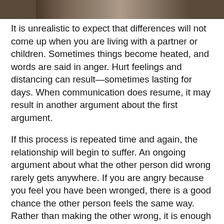[Figure (photo): Partial photo of people at the top of the page, cropped strip]
It is unrealistic to expect that differences will not come up when you are living with a partner or children. Sometimes things become heated, and words are said in anger. Hurt feelings and distancing can result—sometimes lasting for days. When communication does resume, it may result in another argument about the first argument.
If this process is repeated time and again, the relationship will begin to suffer. An ongoing argument about what the other person did wrong rarely gets anywhere. If you are angry because you feel you have been wronged, there is a good chance the other person feels the same way. Rather than making the other wrong, it is enough to state simply what you do not like: being yelled at, sworn at, put down or ignored.
The other person will likely counter with what he or she does not like about what you did or said. Allow this without defensiveness